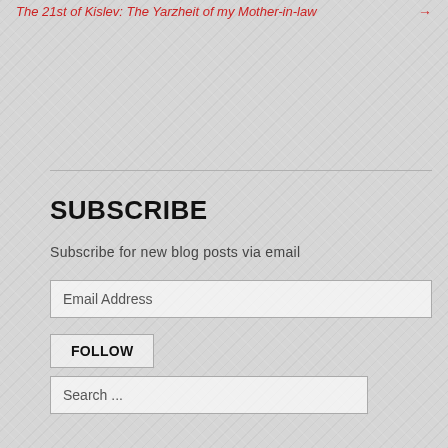The 21st of Kislev: The Yarzheit of my Mother-in-law →
SUBSCRIBE
Subscribe for new blog posts via email
Email Address
FOLLOW
Search ...